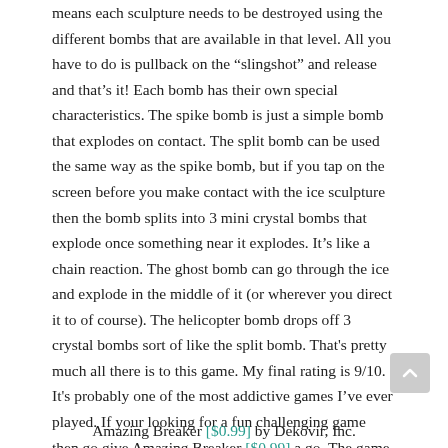means each sculpture needs to be destroyed using the different bombs that are available in that level. All you have to do is pullback on the “slingshot” and release and that’s it! Each bomb has their own special characteristics. The spike bomb is just a simple bomb that explodes on contact. The split bomb can be used the same way as the spike bomb, but if you tap on the screen before you make contact with the ice sculpture then the bomb splits into 3 mini crystal bombs that explode once something near it explodes. It’s like a chain reaction. The ghost bomb can go through the ice and explode in the middle of it (or wherever you direct it to of course). The helicopter bomb drops off 3 crystal bombs sort of like the split bomb. That's pretty much all there is to this game. My final rating is 9/10. It's probably one of the most addictive games I’ve ever played. If your looking for a fun challenging game then go give Amazing Breaker [$0.99] a go. The game comes with Game Center support, Retina graphics, and 80 levels to keep you busy before more levels are added.
Amazing Breaker [$0.99] by Dekovir, Inc.